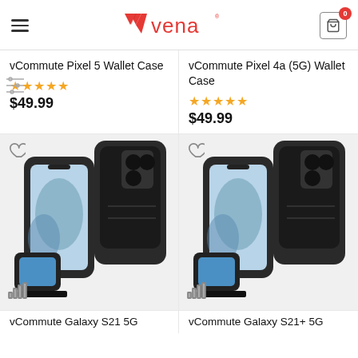Vena (logo) — hamburger menu, cart with 0 items
vCommute Pixel 5 Wallet Case
★★★★★ $49.99
vCommute Pixel 4a (5G) Wallet Case
★★★★★ $49.99
[Figure (photo): Samsung Galaxy S21 5G phone case product photo showing front and back views with kickstand]
[Figure (photo): Samsung Galaxy S21+ 5G phone case product photo showing front and back views with kickstand]
vCommute Galaxy S21 5G
vCommute Galaxy S21+ 5G